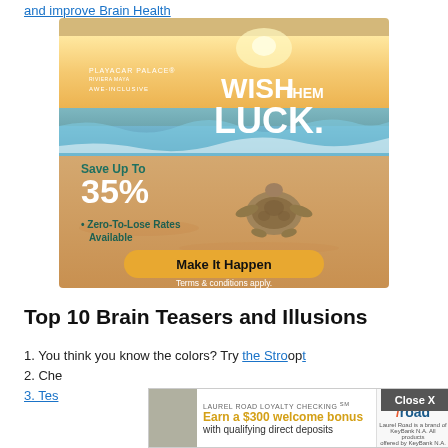and improve Brain Health
[Figure (photo): Playacar Palace resort advertisement showing a beach scene with a sea turtle, text 'WISH THEM LUCK. Save Up To 35% Zero-To-Lose Rates Available. Make It Happen. Terms & conditions apply.']
Top 10 Brain Teasers and Illusions
1. You think you know the colors? Try the Stro[op] t
2. Ch[eck...]
3. Tes[t...]
[Figure (screenshot): Bottom overlay ad for Laurel Road Loyalty Checking with '$300 welcome bonus with qualifying direct deposits' and a Close X button]